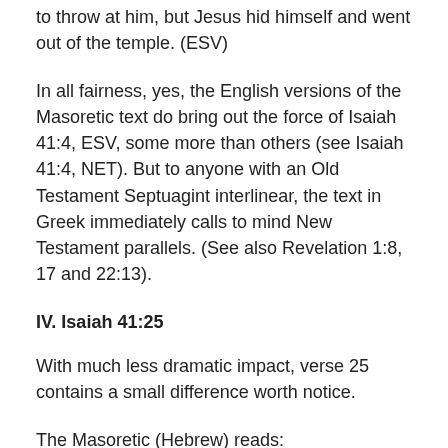to throw at him, but Jesus hid himself and went out of the temple. (ESV)
In all fairness, yes, the English versions of the Masoretic text do bring out the force of Isaiah 41:4, ESV, some more than others (see Isaiah 41:4, NET). But to anyone with an Old Testament Septuagint interlinear, the text in Greek immediately calls to mind New Testament parallels. (See also Revelation 1:8, 17 and 22:13).
IV. Isaiah 41:25
With much less dramatic impact, verse 25 contains a small difference worth notice.
The Masoretic (Hebrew) reads:
41:25 I stirred up one from the north, and he has come, from the rising of the sun, and he shall call upon my name;